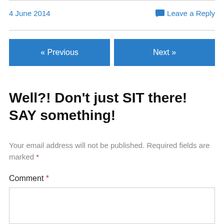4 June 2014
Leave a Reply
« Previous
Next »
Well?! Don't just SIT there! SAY something!
Your email address will not be published. Required fields are marked *
Comment *